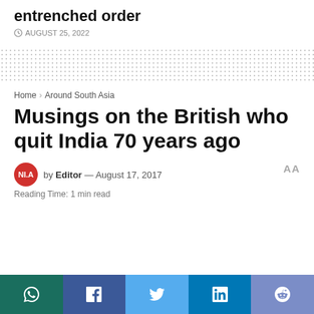entrenched order
AUGUST 25, 2022
Home > Around South Asia
Musings on the British who quit India 70 years ago
by Editor — August 17, 2017
Reading Time: 1 min read
[Figure (other): Social share buttons: WhatsApp, Facebook, Twitter, LinkedIn, Reddit]